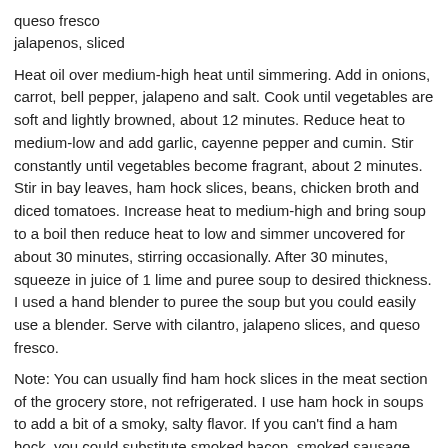queso fresco
jalapenos, sliced
Heat oil over medium-high heat until simmering. Add in onions, carrot, bell pepper, jalapeno and salt. Cook until vegetables are soft and lightly browned, about 12 minutes. Reduce heat to medium-low and add garlic, cayenne pepper and cumin. Stir constantly until vegetables become fragrant, about 2 minutes. Stir in bay leaves, ham hock slices, beans, chicken broth and diced tomatoes. Increase heat to medium-high and bring soup to a boil then reduce heat to low and simmer uncovered for about 30 minutes, stirring occasionally. After 30 minutes, squeeze in juice of 1 lime and puree soup to desired thickness. I used a hand blender to puree the soup but you could easily use a blender. Serve with cilantro, jalapeno slices, and queso fresco.
Note: You can usually find ham hock slices in the meat section of the grocery store, not refrigerated. I use ham hock in soups to add a bit of a smoky, salty flavor. If you can't find a ham hock, you could substitute smoked bacon, smoked sausage, smoked ham or just leave it out completely and